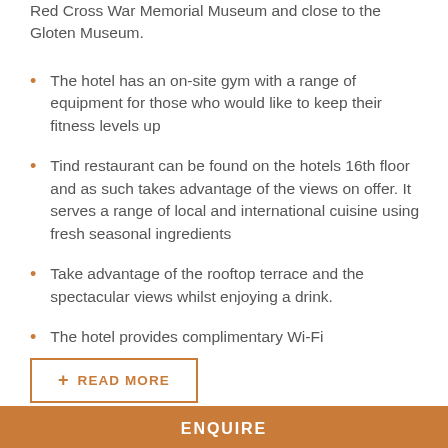Red Cross War Memorial Museum and close to the Gloten Museum.
The hotel has an on-site gym with a range of equipment for those who would like to keep their fitness levels up
Tind restaurant can be found on the hotels 16th floor and as such takes advantage of the views on offer. It serves a range of local and international cuisine using fresh seasonal ingredients
Take advantage of the rooftop terrace and the spectacular views whilst enjoying a drink.
The hotel provides complimentary Wi-Fi
+ READ MORE
ENQUIRE